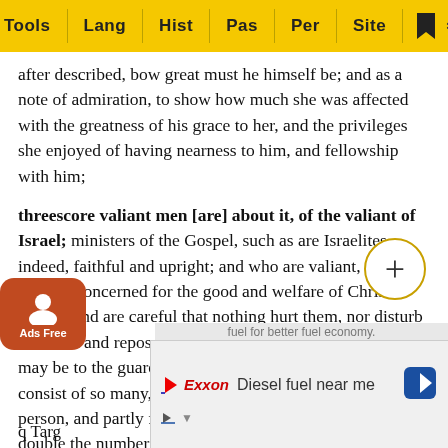Tools | Lang | Hist | Pas | Per | Site
after described, bow great must he himself be; and as a note of admiration, to show how much she was affected with the greatness of his grace to her, and the privileges she enjoyed of having nearness to him, and fellowship with him;
threescore valiant men [are] about it, of the valiant of Israel; ministers of the Gospel, such as are Israelites indeed, faithful and upright; and who are valiant, and heartily concerned for the good and welfare of Christ's people, and are careful that nothing hurt them, nor disturb their rest and repose. In the number of them, the allusion may be to the guard about Solomon's bed; which might consist of so many, partly for the security of his royal person, and partly for grandeur and majesty: and were just double the number of his father's bodyguards, he excelling him in greatness and glory; though a certain number is put for an uncertain; and this is a comp...
[Figure (screenshot): Ads Free badge (orange rounded rectangle with person icon), plus button (circle with + sign), and advertisement overlay showing Exxon 'Diesel fuel near me' ad at the bottom of the screen.]
q Targ